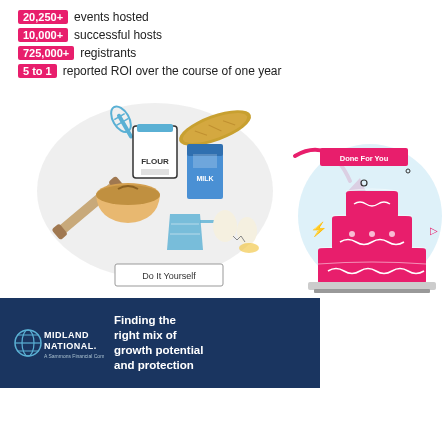20,250+ events hosted
10,000+ successful hosts
725,000+ registrants
5 to 1 reported ROI over the course of one year
[Figure (illustration): Left side: baking ingredients illustration (whisk, rolling pin, flour bag, milk carton, eggs, bowl, measuring cup) with label 'Do It Yourself'. Arrow pointing right. Right side: finished multi-tier pink cake with 'Done For You' label above it, on a light blue circle background.]
[Figure (logo): Midland National logo with tagline 'A Sammons Financial Company' and text 'Finding the right mix of growth potential and protection' on dark navy background]